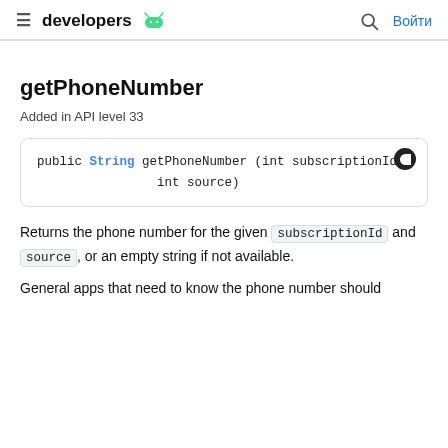≡ developers [android logo] 🔍 Войти
getPhoneNumber
Added in API level 33
Returns the phone number for the given subscriptionId and source , or an empty string if not available.
General apps that need to know the phone number should